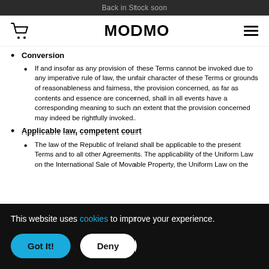Back in Stock soon
Conversion
If and insofar as any provision of these Terms cannot be invoked due to any imperative rule of law, the unfair character of these Terms or grounds of reasonableness and fairness, the provision concerned, as far as contents and essence are concerned, shall in all events have a corresponding meaning to such an extent that the provision concerned may indeed be rightfully invoked.
Applicable law, competent court
The law of the Republic of Ireland shall be applicable to the present Terms and to all other Agreements. The applicability of the Uniform Law on the International Sale of Movable Property, the Uniform Law on the
This website uses cookies to improve your experience.